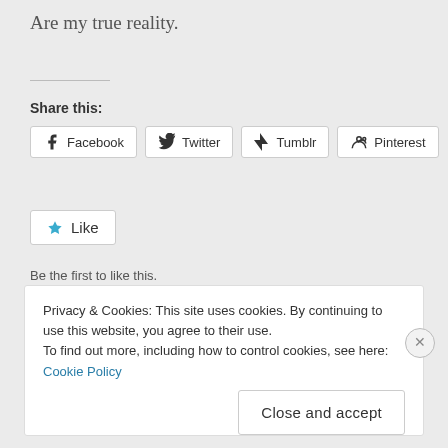Are my true reality.
Share this:
Facebook  Twitter  Tumblr  Pinterest
Like
Be the first to like this.
By Mel Douleur in poetry | May 10, 2015 | 132 Words | 1 Comment
Privacy & Cookies: This site uses cookies. By continuing to use this website, you agree to their use. To find out more, including how to control cookies, see here: Cookie Policy
Close and accept